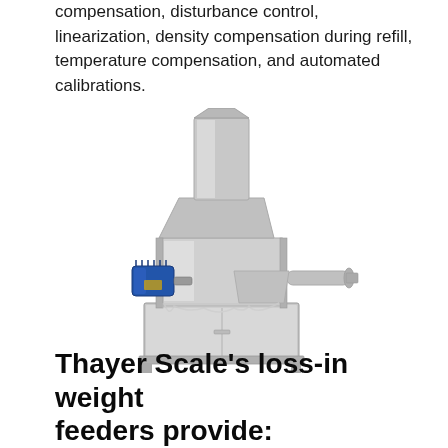compensation, disturbance control, linearization, density compensation during refill, temperature compensation, and automated calibrations.
[Figure (photo): Photo of a Thayer Scale loss-in-weight feeder: a stainless steel hopper with a square funnel on top, a screw auger outlet on the right, a blue electric motor on the left, and a stainless steel base cabinet.]
Thayer Scale's loss-in weight feeders provide: